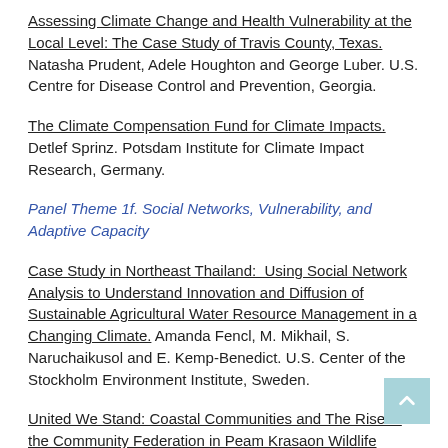Assessing Climate Change and Health Vulnerability at the Local Level: The Case Study of Travis County, Texas. Natasha Prudent, Adele Houghton and George Luber. U.S. Centre for Disease Control and Prevention, Georgia.
The Climate Compensation Fund for Climate Impacts. Detlef Sprinz. Potsdam Institute for Climate Impact Research, Germany.
Panel Theme 1f. Social Networks, Vulnerability, and Adaptive Capacity
Case Study in Northeast Thailand: Using Social Network Analysis to Understand Innovation and Diffusion of Sustainable Agricultural Water Resource Management in a Changing Climate. Amanda Fencl, M. Mikhail, S. Naruchaikusol and E. Kemp-Benedict. U.S. Center of the Stockholm Environment Institute, Sweden.
United We Stand: Coastal Communities and The Rise of the Community Federation in Peam Krasaon Wildlife Sanctuary, Koh...